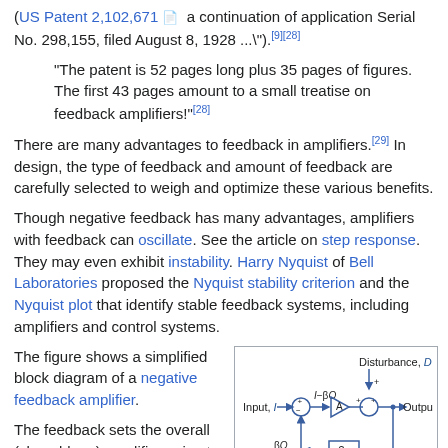(US Patent 2,102,671 – a continuation of application Serial No. 298,155, filed August 8, 1928 ...").[9][28]
"The patent is 52 pages long plus 35 pages of figures. The first 43 pages amount to a small treatise on feedback amplifiers!"[28]
There are many advantages to feedback in amplifiers.[29] In design, the type of feedback and amount of feedback are carefully selected to weigh and optimize these various benefits.
Though negative feedback has many advantages, amplifiers with feedback can oscillate. See the article on step response. They may even exhibit instability. Harry Nyquist of Bell Laboratories proposed the Nyquist stability criterion and the Nyquist plot that identify stable feedback systems, including amplifiers and control systems.
The figure shows a simplified block diagram of a negative feedback amplifier.
[Figure (schematic): Block diagram of a negative feedback amplifier with external disturbance. Shows Input I, summer with + and -, signal I-βO going to amplifier block A, disturbance D added at output summer, giving Output O. Feedback path goes through block β back to input summer as βO.]
Negative feedback amplifier with external disturbance.[30] The feedback is negative if βA >0.
The feedback sets the overall (closed-loop) amplifier gain at a value: